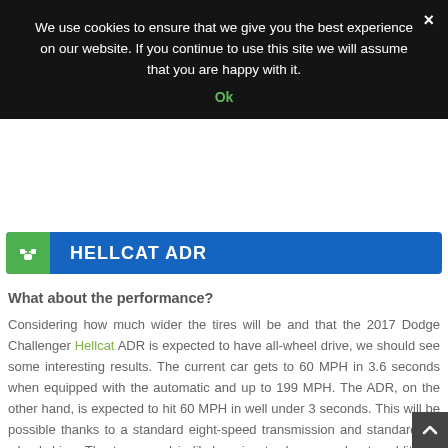We use cookies to ensure that we give you the best experience on our website. If you continue to use this site we will assume that you are happy with it.
Ok
HELLCAT ADR
What about the performance?
Considering how much wider the tires will be and that the 2017 Dodge Challenger Hellcat ADR is expected to have all-wheel drive, we should see some interesting results. The current car gets to 60 MPH in 3.6 seconds when equipped with the automatic and up to 199 MPH. The ADR, on the other hand, is expected to hit 60 MPH in well under 3 seconds. This will be possible thanks to a standard eight-speed transmission and standard all-wheel drive. The top speed is likely going to decrease due to additional aerodynamic upgrades over the original.